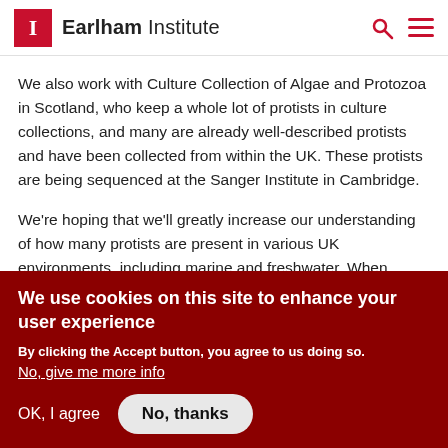Earlham Institute
We also work with Culture Collection of Algae and Protozoa in Scotland, who keep a whole lot of protists in culture collections, and many are already well-described protists and have been collected from within the UK. These protists are being sequenced at the Sanger Institute in Cambridge.
We're hoping that we'll greatly increase our understanding of how many protists are present in various UK environments, including marine and freshwater. When
We use cookies on this site to enhance your user experience
By clicking the Accept button, you agree to us doing so.
No, give me more info
OK, I agree   No, thanks